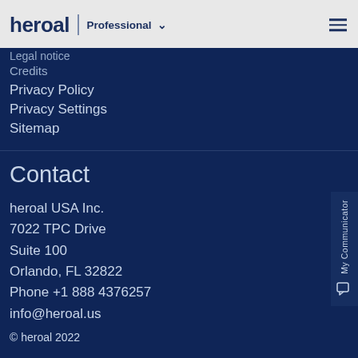heroal | Professional
Legal notice
Credits
Privacy Policy
Privacy Settings
Sitemap
Contact
heroal USA Inc.
7022 TPC Drive
Suite 100
Orlando, FL 32822
Phone +1 888 4376257
info@heroal.us
© heroal 2022